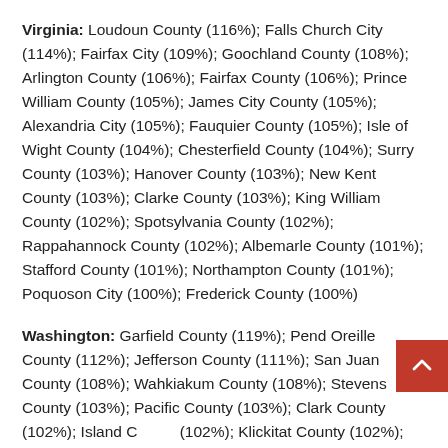Virginia: Loudoun County (116%); Falls Church City (114%); Fairfax City (109%); Goochland County (108%); Arlington County (106%); Fairfax County (106%); Prince William County (105%); James City County (105%); Alexandria City (105%); Fauquier County (105%); Isle of Wight County (104%); Chesterfield County (104%); Surry County (103%); Hanover County (103%); New Kent County (103%); Clarke County (103%); King William County (102%); Spotsylvania County (102%); Rappahannock County (102%); Albemarle County (101%); Stafford County (101%); Northampton County (101%); Poquoson City (100%); Frederick County (100%)
Washington: Garfield County (119%); Pend Oreille County (112%); Jefferson County (111%); San Juan County (108%); Wahkiakum County (108%); Stevens County (103%); Pacific County (103%); Clark County (102%); Island County (102%); Klickitat County (102%); Thurston County (101%); Lincoln County (101%); Whatcom County (100%); Asotin County (100%)